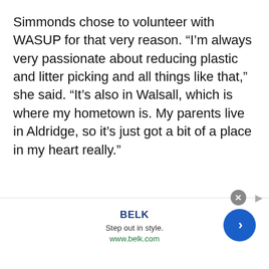Simmonds chose to volunteer with WASUP for that very reason. “I’m always very passionate about reducing plastic and litter picking and all things like that,” she said. “It’s also in Walsall, which is where my hometown is. My parents live in Aldridge, so it’s just got a bit of a place in my heart really.”
[Figure (other): Advertisement banner for BELK. Shows brand name 'BELK' in bold blue, tagline 'Step out in style.', URL 'www.belk.com' in green, a close button (X) and a blue circular CTA arrow button.]